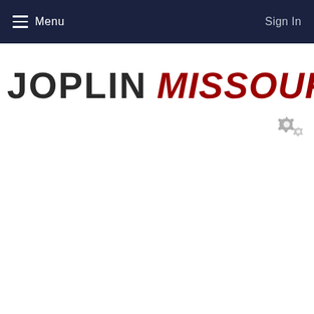Menu   Sign In
JOPLIN MISSOURI
[Figure (illustration): Gear/settings icon (two overlapping gear symbols in gray)]